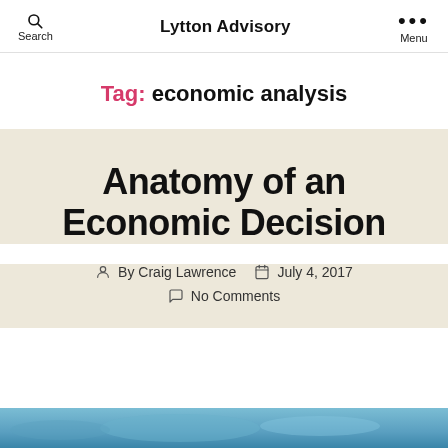Search | Lytton Advisory | Menu
Tag: economic analysis
Anatomy of an Economic Decision
By Craig Lawrence  July 4, 2017  No Comments
[Figure (photo): Blue abstract image strip at the bottom of the page]